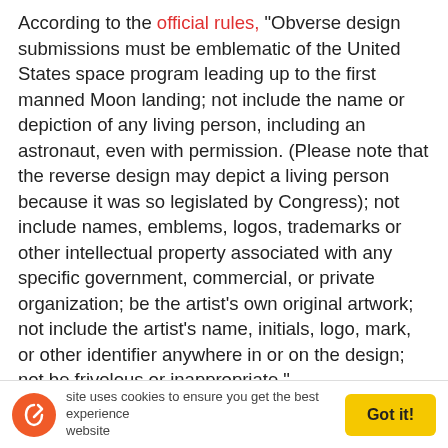According to the official rules, "Obverse design submissions must be emblematic of the United States space program leading up to the first manned Moon landing; not include the name or depiction of any living person, including an astronaut, even with permission. (Please note that the reverse design may depict a living person because it was so legislated by Congress); not include names, emblems, logos, trademarks or other intellectual property associated with any specific government, commercial, or private organization; be the artist's own original artwork; not include the artist's name, initials, logo, mark, or other identifier anywhere in or on the design; not be frivolous or inappropriate."
In addition, "Artists may be responsible at any time for any necessary modifications to a submitted design as requested by the United States Mint. Changes may be requested for any reason, including historical/technical
site uses cookies to ensure you get the best experience website